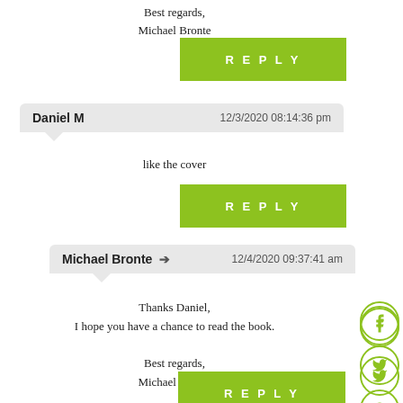Best regards,
Michael Bronte
REPLY
Daniel M   12/3/2020 08:14:36 pm
like the cover
REPLY
Michael Bronte → 12/4/2020 09:37:41 am
Thanks Daniel,
I hope you have a chance to read the book.

Best regards,
Michael Bronte
REPLY